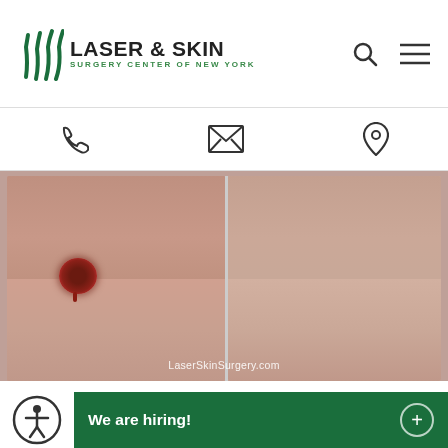LASER & SKIN SURGERY CENTER OF NEW YORK
[Figure (photo): Before and after photos of Mohs surgery to treat skin cancer above upper lip. Left panel shows a wound/lesion near the upper lip area; right panel shows healed result. Watermark reads LaserSkinSurgery.com]
MOHS SURGERY TO TREAT SKIN CANCER ABOVE UPPER
Disclaimer: Results may vary from patient to patient. Results are not gua